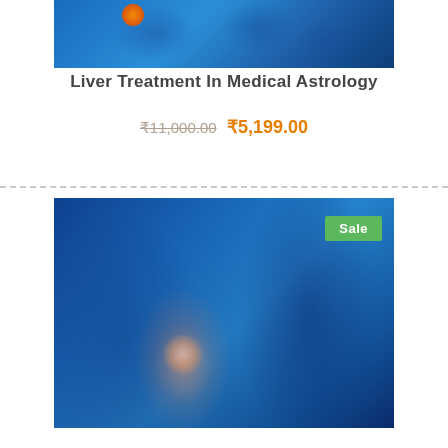[Figure (photo): Medical/anatomical image showing liver or cell structure with blue tones and an orange highlighted spot]
Liver Treatment In Medical Astrology
₹11,000.00 ₹5,199.00
[Figure (photo): Medical image of a knee joint with x-ray/anatomical style, showing inflammation (glowing white/red at knee joint), blue tones, with a green Sale badge in top right corner]